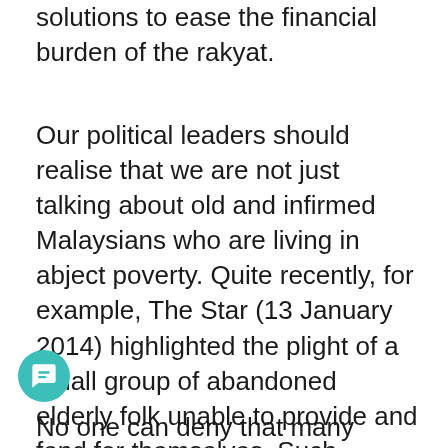solutions to ease the financial burden of the rakyat.
Our political leaders should realise that we are not just talking about old and infirmed Malaysians who are living in abject poverty. Quite recently, for example, The Star (13 January 2014) highlighted the plight of a small group of abandoned elderly folk unable to provide and fend for themselves. Such reports tug at the heartstrings of generous Malaysians, who then unhesitatingly rally around to provide assistance. In fact as soon as their plight is highlighted, it is the duty and responsibility of the government's social welfare department to attend to their needs.
No one can deny that many families with